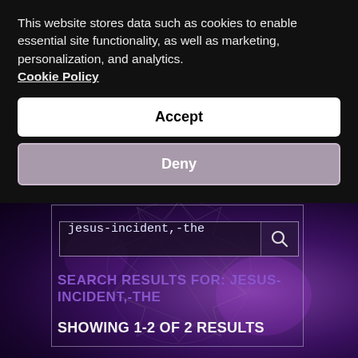This website stores data such as cookies to enable essential site functionality, as well as marketing, personalization, and analytics. Cookie Policy
Accept
Deny
[Figure (screenshot): Website background with dark purple/space theme and pentagram/star symbol overlay, showing a search bar with 'jesus-incident,-the' query]
SEARCH RESULTS FOR: JESUS-INCIDENT,-THE
SHOWING 1-2 OF 2 RESULTS